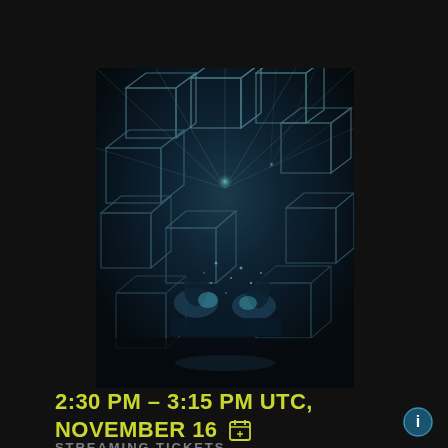[Figure (photo): Concert stage photo showing performers surrounded by large geometric cube-shaped structures hanging from above, with dramatic blue/teal lighting and light rays emanating from the center background. Dark atmospheric scene.]
2:30 PM – 3:15 PM UTC, NOVEMBER 16 [calendar icon]
STREAMING TICKETS